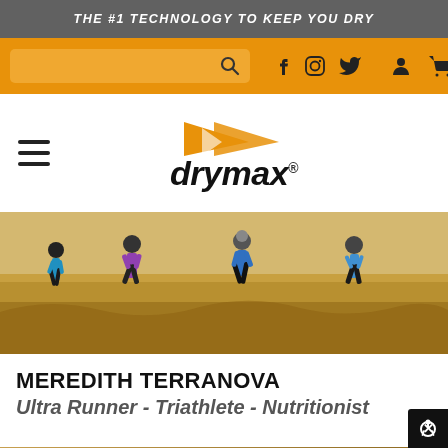THE #1 TECHNOLOGY TO KEEP YOU DRY
[Figure (screenshot): Orange navigation bar with search box, social media icons (Facebook, Instagram, Twitter), account icon, and cart icon]
[Figure (logo): Drymax logo with orange arrow/chevron symbol above the wordmark 'drymax' with registered trademark symbol, hamburger menu on left]
[Figure (photo): Four runners running through golden/brown grassland field, wearing athletic clothes in blue, purple and teal colors]
MEREDITH TERRANOVA
Ultra Runner - Triathlete - Nutritionist